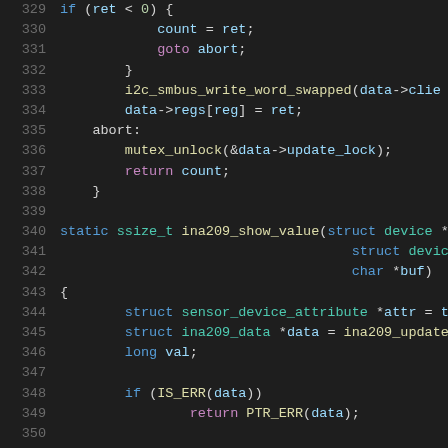[Figure (screenshot): Source code listing in a dark-themed code editor showing C code lines 329-350, featuring a function fragment with i2c_smbus_write_word_swapped, mutex_unlock, and the beginning of ina209_show_value function with struct sensor_device_attribute and ina209_data declarations.]